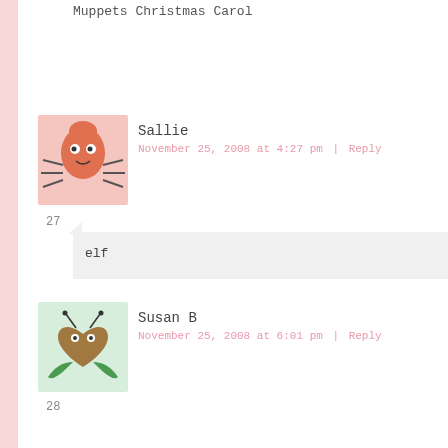Muppets Christmas Carol
Sallie
November 25, 2008 at 4:27 pm | Reply
27
elf
Susan B
November 25, 2008 at 6:01 pm | Reply
28
Miracle on 34th Street does it for me every time.
Corinne Peat
November 25, 2008 at 1:43 pm | Reply
29
I love elf